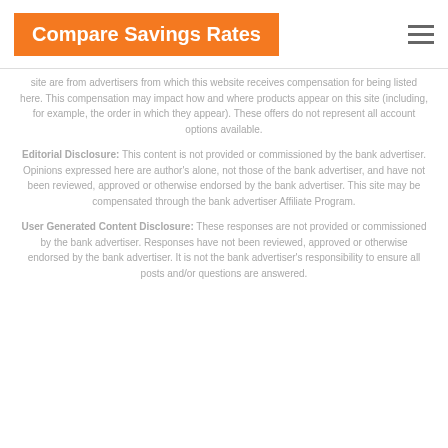Compare Savings Rates
site are from advertisers from which this website receives compensation for being listed here. This compensation may impact how and where products appear on this site (including, for example, the order in which they appear). These offers do not represent all account options available.
Editorial Disclosure: This content is not provided or commissioned by the bank advertiser. Opinions expressed here are author's alone, not those of the bank advertiser, and have not been reviewed, approved or otherwise endorsed by the bank advertiser. This site may be compensated through the bank advertiser Affiliate Program.
User Generated Content Disclosure: These responses are not provided or commissioned by the bank advertiser. Responses have not been reviewed, approved or otherwise endorsed by the bank advertiser. It is not the bank advertiser's responsibility to ensure all posts and/or questions are answered.